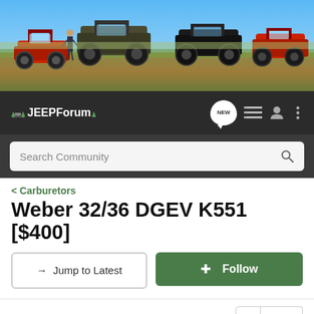[Figure (photo): Banner photo showing multiple lifted Jeep vehicles lined up in an off-road desert/grassland setting with blue sky background]
[Figure (logo): JEEPForum logo with tree/pine icons on dark navigation bar, with NEW chat bubble icon, list icon, user icon, and menu dots]
Search Community
< Carburetors
Weber 32/36 DGEV K551 [$400]
→ Jump to Latest
+ Follow
21 - 30 of 30 Posts
2 of 2
zeronight · Registered